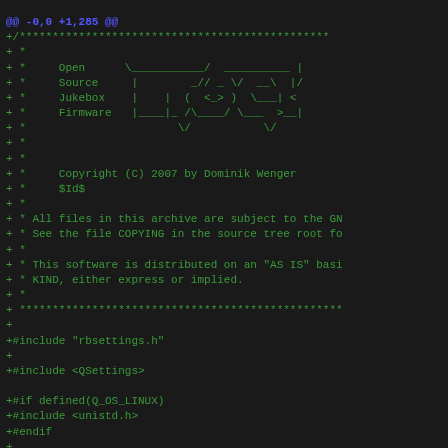@@ -0,0 +1,285 @@
+/*****************************************************
+ *
+ *     Open      \___________/  __________  | |  \_  |_
+ *     Source     |         _// _ \/   __\  |/  /|  _
+ *     Jukebox    |    |   (  <_> )  \___|    < | |\_
+ *     Firmware   |____|_  /\____/ \___  >__|_  \|___
+ *                        \/            \/      \/
+ *
+ *
+ *     Copyright (C) 2007 by Dominik Wenger
+ *     $Id$
+ *
+ * All files in this archive are subject to the GN
+ * See the file COPYING in the source tree root fo
+ *
+ * This software is distributed on an "AS IS" basi
+ * KIND, either express or implied.
+ *
+ *****************************************************
+
+#include "rbsettings.h"
+
+#include <QSettings>
+
+#if defined(Q_OS_LINUX)
+#include <unistd.h>
+#endif
+
+// device settings
+const static struct {